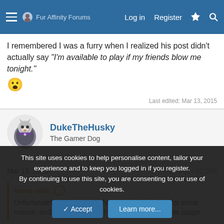Fur Affinity Forums — Log in   Register
I remembered I was a furry when I realized his post didn't actually say "I'm available to play if my friends blow me tonight." 😮
Last edited: Mar 13, 2015
DukeTheHusky
The Gamer Dog
Mar 13, 2015   #2,209
leono said: ↑
Unfortunately! Some people have some huge files for some reason, and when I'm at sea I've gotta watch my data usage.
This site uses cookies to help personalise content, tailor your experience and to keep you logged in if you register.
By continuing to use this site, you are consenting to our use of cookies.